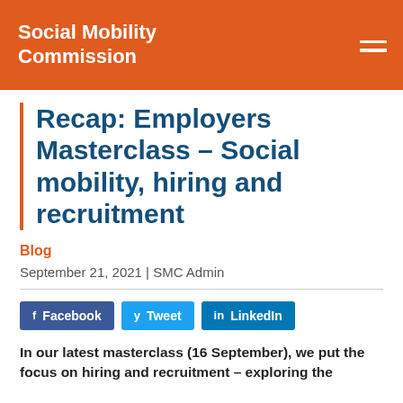Social Mobility Commission
Recap: Employers Masterclass – Social mobility, hiring and recruitment
Blog
September 21, 2021 | SMC Admin
[Figure (other): Social sharing buttons: Facebook, Tweet, LinkedIn]
In our latest masterclass (16 September), we put the focus on hiring and recruitment – exploring the